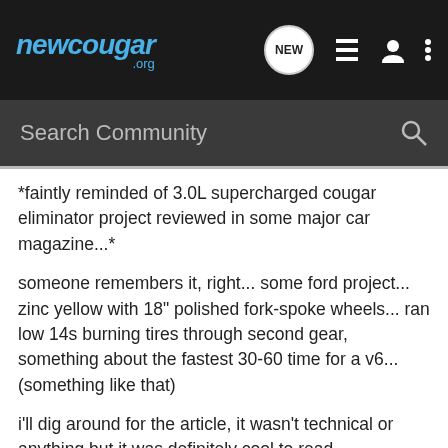newcougar .org
*faintly reminded of 3.0L supercharged cougar eliminator project reviewed in some major car magazine...*
someone remembers it, right... some ford project... zinc yellow with 18" polished fork-spoke wheels... ran low 14s burning tires through second gear, something about the fastest 30-60 time for a v6... (something like that)
i'll dig around for the article, it wasn't technical or anything but it was definitely cool to read...
Zalec · Registered